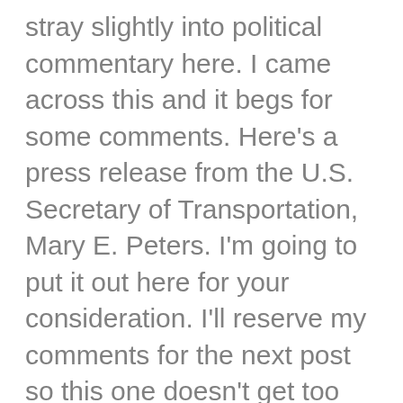stray slightly into political commentary here. I came across this and it begs for some comments. Here's a press release from the U.S. Secretary of Transportation, Mary E. Peters. I'm going to put it out here for your consideration. I'll reserve my comments for the next post so this one doesn't get too long.
DOT 19-07 Friday, February 16,